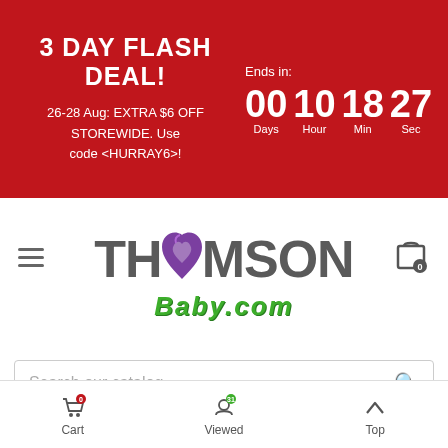3 DAY FLASH DEAL! 26-28 Aug: EXTRA $6 OFF STOREWIDE. Use code <HURRAY6>! Ends in: 00 Days 10 Hour 18 Min 27 Sec
[Figure (logo): Thomson Baby.com logo with heart icon replacing the O in Thomson, and Baby.com in green italic below]
Search our catalog
Home > For Baby > Nursery > Mom & Baby > Taf Toys All Around Me Gym
BESTSELLER
Cart 0   Viewed 31   Top